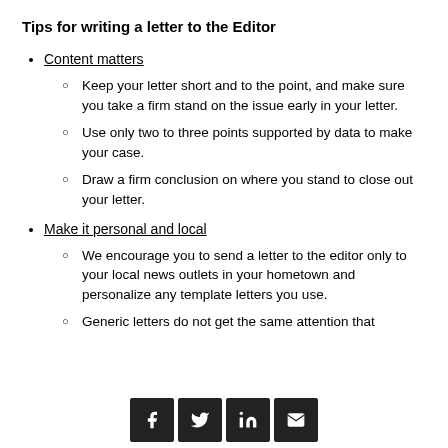Tips for writing a letter to the Editor
Content matters
Keep your letter short and to the point, and make sure you take a firm stand on the issue early in your letter.
Use only two to three points supported by data to make your case.
Draw a firm conclusion on where you stand to close out your letter.
Make it personal and local
We encourage you to send a letter to the editor only to your local news outlets in your hometown and personalize any template letters you use.
Generic letters do not get the same attention that